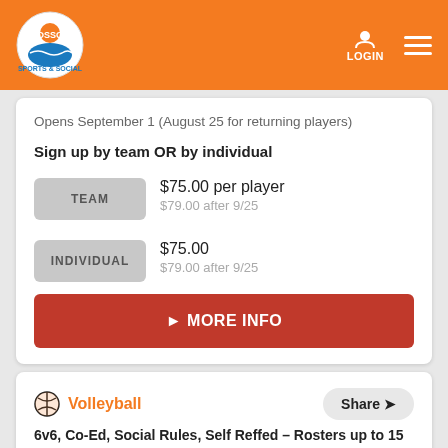[Figure (logo): DSSC Sports & Social logo on orange header background with login and hamburger menu icons]
Opens September 1 (August 25 for returning players)
Sign up by team OR by individual
TEAM  $75.00 per player  $79.00 after 9/25
INDIVIDUAL  $75.00  $79.00 after 9/25
▶ MORE INFO
Volleyball
6v6, Co-Ed, Social Rules, Self Reffed – Rosters up to 15 Players
Indoor Party 6s – Friday – Holiday